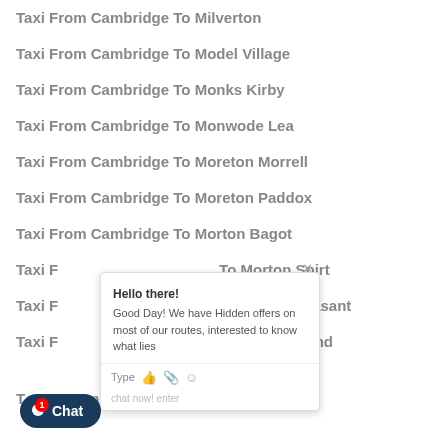Taxi From Cambridge To Milverton
Taxi From Cambridge To Model Village
Taxi From Cambridge To Monks Kirby
Taxi From Cambridge To Monwode Lea
Taxi From Cambridge To Moreton Morrell
Taxi From Cambridge To Moreton Paddox
Taxi From Cambridge To Morton Bagot
Taxi From Cambridge To Morton Spirt
Taxi From Cambridge To Mount Pleasant
Taxi From Cambridge To Mousley End
Taxi From Cambridge To Myton